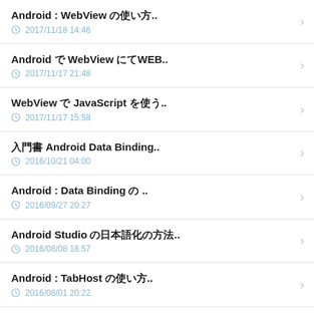Android : WebView の使い方..
2017/11/18 14:46
Android で WebView にてWEB..
2017/11/17 21:48
WebView で JavaScript を使う..
2017/11/17 15:58
入門書 Android Data Binding..
2016/10/21 04:00
Android : Data Binding の ..
2016/09/27 20:27
Android Studio の日本語化の方法..
2016/08/08 18:57
Android : TabHost の使い方..
2016/08/01 20:22
Android : TabHost で タブ..